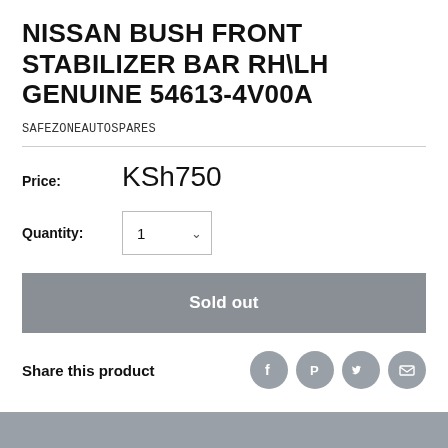NISSAN BUSH FRONT STABILIZER BAR RH\LH GENUINE 54613-4V00A
SAFEZONEAUTOSPARES
Price: KSh750
Quantity: 1
Sold out
Share this product